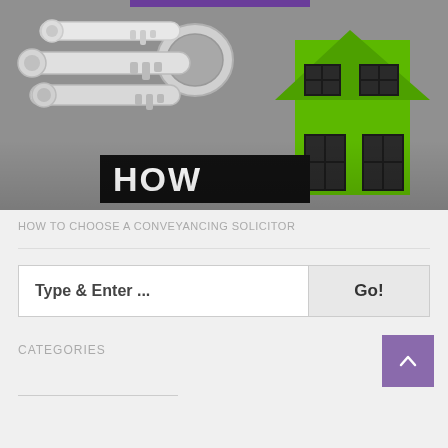[Figure (photo): Photo of silver keys and a green house keychain on a grey surface. Overlaid black text banners read 'HOW TO CHOOSE A GOOD'. Purple bar visible at very top.]
HOW TO CHOOSE A CONVEYANCING SOLICITOR
Type & Enter ...
Go!
CATEGORIES